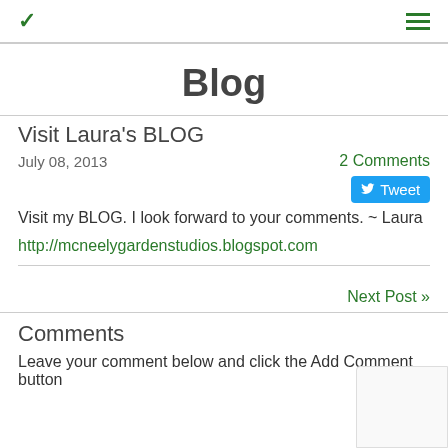Blog
Visit Laura's BLOG
July 08, 2013  2 Comments
Tweet
Visit my BLOG. I look forward to your comments. ~ Laura
http://mcneelygardenstudios.blogspot.com
Next Post »
Comments
Leave your comment below and click the Add Comment button